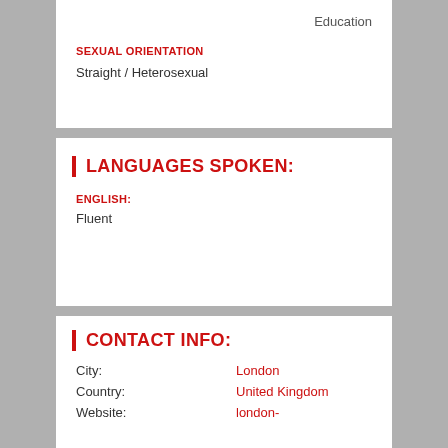Education
SEXUAL ORIENTATION
Straight / Heterosexual
LANGUAGES SPOKEN:
ENGLISH:
Fluent
CONTACT INFO:
City: London
Country: United Kingdom
Website: london-